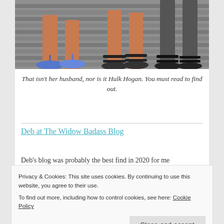[Figure (photo): Photo showing feet and sandals of multiple people standing on a wooden deck/platform. One person wearing blue flip-flops, another wearing black strappy sandals.]
That isn't her husband, nor is it Hulk Hogan. You must read to find out.
Deb at The Widow Badass Blog
Deb's blog was probably the best find in 2020 for me
Privacy & Cookies: This site uses cookies. By continuing to use this website, you agree to their use.
To find out more, including how to control cookies, see here: Cookie Policy
Close and accept
the link and it led me to Deb's blog. After reading the